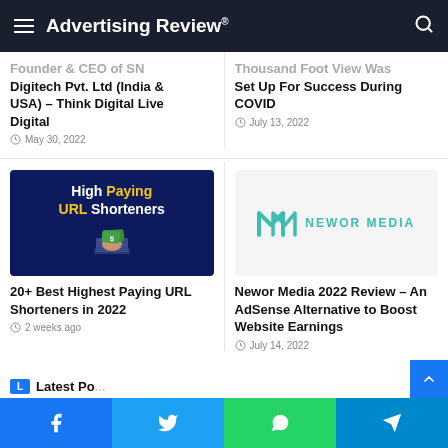Advertising Review®
Founder & CEO of SN Digitech Pvt. Ltd (India & USA) – Think Digital Live Digital
May 30, 2022
Thousand Foot View Was Set Up For Success During COVID
July 13, 2022
[Figure (photo): High Paying URL Shorteners banner: dark navy background with bold white and yellow text reading 'High Paying URL Shorteners', with a hand holding cash coming out of a laptop]
20+ Best Highest Paying URL Shorteners in 2022
2 weeks ago
[Figure (logo): Newor Media logo: teal/turquoise double-M mark followed by NEWOR MEDIA text in teal]
Newor Media 2022 Review – An AdSense Alternative to Boost Website Earnings
July 14, 2022